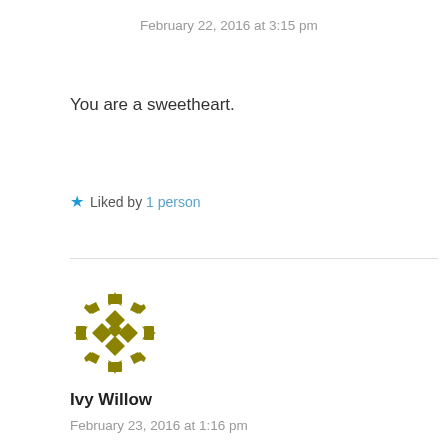February 22, 2016 at 3:15 pm
You are a sweetheart.
★ Liked by 1 person
[Figure (illustration): Decorative geometric/floral avatar icon in olive/gold color for user Ivy Willow]
Ivy Willow
February 23, 2016 at 1:16 pm
Sam, sunshine, understanding is always a double edged sword, but you are definitely not alone in struggling to stay alive. I'm trans and deal with heavy mental illness issues. You write wonderfully, and you absolutely are sunshine. You bring light into other's lives, whether you know it or not. I